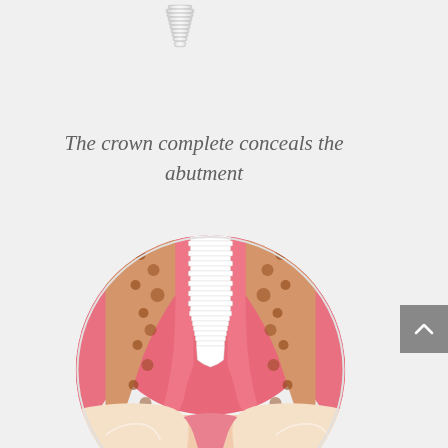[Figure (illustration): A small dental implant screw component shown from above against a light gray background]
The crown complete conceals the abutment
[Figure (illustration): A circular cross-section medical illustration showing a dental implant (white threaded screw) inserted into the jawbone surrounded by pink gum tissue, spongy bone visible on both sides, with adjacent natural teeth visible at the bottom]